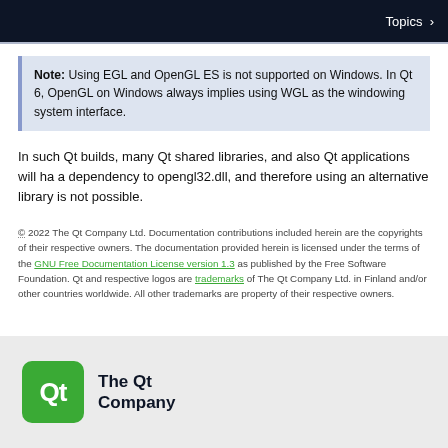Topics >
Note: Using EGL and OpenGL ES is not supported on Windows. In Qt 6, OpenGL on Windows always implies using WGL as the windowing system interface.
In such Qt builds, many Qt shared libraries, and also Qt applications will have a dependency to opengl32.dll, and therefore using an alternative library is not possible.
© 2022 The Qt Company Ltd. Documentation contributions included herein are the copyrights of their respective owners. The documentation provided herein is licensed under the terms of the GNU Free Documentation License version 1.3 as published by the Free Software Foundation. Qt and respective logos are trademarks of The Qt Company Ltd. in Finland and/or other countries worldwide. All other trademarks are property of their respective owners.
[Figure (logo): The Qt Company logo - green rounded square with Qt text, followed by 'The Qt Company' text]